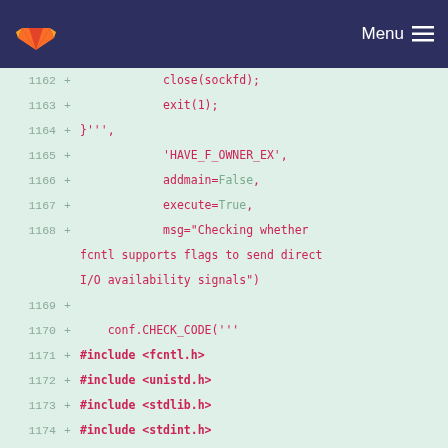GitLab navigation bar with logo and Menu
[Figure (screenshot): GitLab code diff view showing lines 1162-1179 of a source file with added lines (marked with +) in red on a light green background]
1162 +               close(sockfd);
1163 +               exit(1);
1164 + }''',
1165 +               'HAVE_F_OWNER_EX',
1166 +               addmain=False,
1167 +               execute=True,
1168 +               msg="Checking whether fcntl supports flags to send direct I/O availability signals")
1169 +
1170 +     conf.CHECK_CODE('''
1171 + #include <fcntl.h>
1172 + #include <unistd.h>
1173 + #include <stdlib.h>
1174 + #include <stdint.h>
1175 +
1176 + #define DATA "hinttest.fcntl"
1177 +
1178 + int main(void)
1179 + {